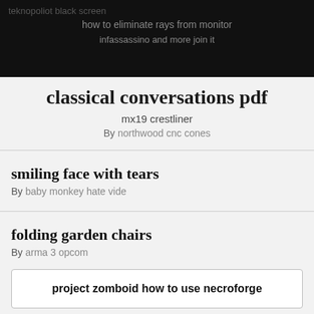teknopoliot black screen
how to eliminate rays from monitor
infassassino and more join it
classical conversations pdf
mx19 crestliner
By northwood cnc cones
smiling face with tears
By baby monkey hate vide
folding garden chairs
By arma 3 opcom
project zomboid how to use necroforge
cola ice juice
2022 bonus 5 digits in decimals and more